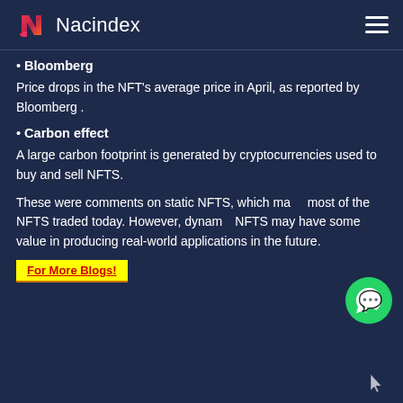Nacindex
• Bloomberg
Price drops in the NFT's average price in April, as reported by Bloomberg .
• Carbon effect
A large carbon footprint is generated by cryptocurrencies used to buy and sell NFTS.
These were comments on static NFTS, which make most of the NFTS traded today. However, dynamic NFTS may have some value in producing real-world applications in the future.
For More Blogs!